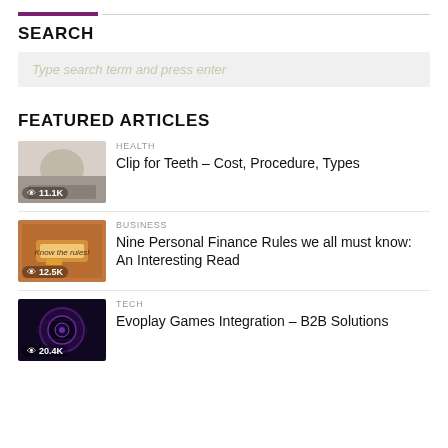SEARCH
Type search term and press enter
FEATURED ARTICLES
HEALTH
Clip for Teeth – Cost, Procedure, Types
11.1K views
BUSINESS
Nine Personal Finance Rules we all must know: An Interesting Read
12.5K views
TECH
Evoplay Games Integration – B2B Solutions
20.4K views